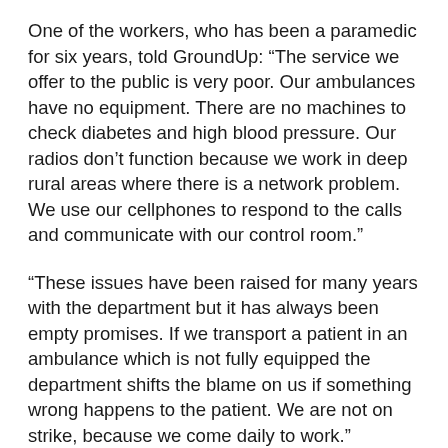One of the workers, who has been a paramedic for six years, told GroundUp: “The service we offer to the public is very poor. Our ambulances have no equipment. There are no machines to check diabetes and high blood pressure. Our radios don’t function because we work in deep rural areas where there is a network problem. We use our cellphones to respond to the calls and communicate with our control room.”
“These issues have been raised for many years with the department but it has always been empty promises. If we transport a patient in an ambulance which is not fully equipped the department shifts the blame on us if something wrong happens to the patient. We are not on strike, because we come daily to work.”
“The Department is threatening to fire us but it’s fully aware that it is failing its workers and…